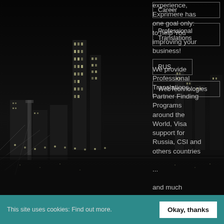[Figure (photo): Dark nighttime cityscape photo showing New York City skyline with illuminated skyscrapers and a bridge, black and white / dark toned]
experience, Exprimere has one goal only: to help You improving your business!

We provide Professional Translations, Partner Finding Programs around the World, Visa support for Russia, CSI and others countries

...

and much
Career
Professional Translations
RUS
WebTechnologies
This site uses cookies: Find out more.